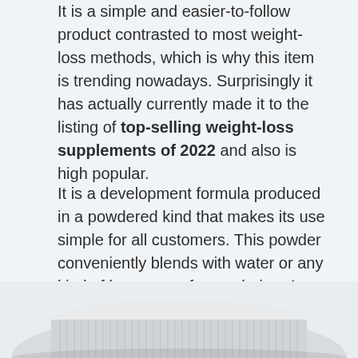It is a simple and easier-to-follow product contrasted to most weight-loss methods, which is why this item is trending nowadays. Surprisingly it has actually currently made it to the listing of top-selling weight-loss supplements of 2022 and also is high popular.
It is a development formula produced in a powdered kind that makes its use simple for all customers. This powder conveniently blends with water or any kind of beverage of your choice. As soon as inside the body, it sets off a natural fat shed and healthy weight-loss, whatever is the weight of an individual.
[Figure (photo): Bottom portion of a white supplement bottle/container lid shown from above, white ribbed cap visible at the bottom of the page]